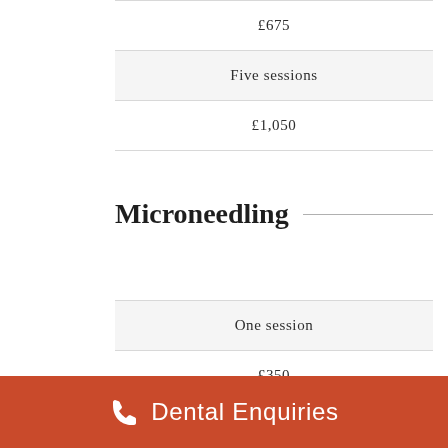| £675 |
| Five sessions |
| £1,050 |
Microneedling
| One session |
| £350 |
| Two sessions |
Dental Enquiries